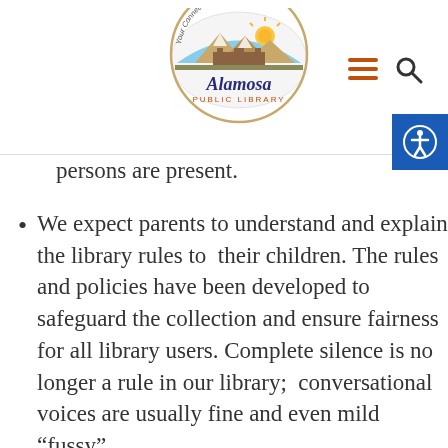Alamosa Public Library
persons are present.
We expect parents to understand and explain the library rules to their children. The rules and policies have been developed to safeguard the collection and ensure fairness for all library users. Complete silence is no longer a rule in our library; conversational voices are usually fine and even mild “fussy”